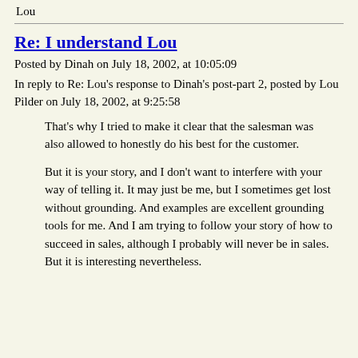Lou
Re: I understand Lou
Posted by Dinah on July 18, 2002, at 10:05:09
In reply to Re: Lou's response to Dinah's post-part 2, posted by Lou Pilder on July 18, 2002, at 9:25:58
That's why I tried to make it clear that the salesman was also allowed to honestly do his best for the customer.
But it is your story, and I don't want to interfere with your way of telling it. It may just be me, but I sometimes get lost without grounding. And examples are excellent grounding tools for me. And I am trying to follow your story of how to succeed in sales, although I probably will never be in sales. But it is interesting nevertheless.